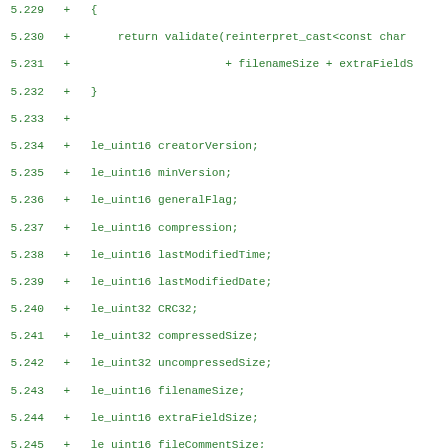Code diff showing C++ struct fields and comments, lines 5.229-5.260